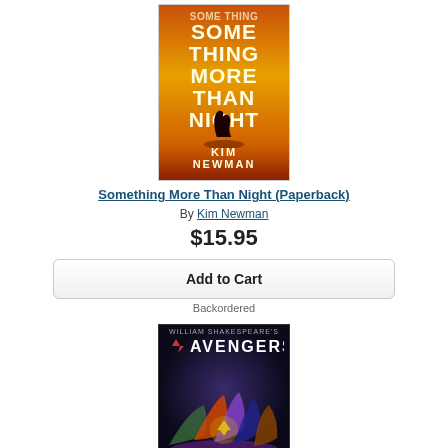[Figure (illustration): Book cover for 'Something More Than Night' by Kim Newman. Orange/fiery background with bold white title text and author name, silhouette figures at center.]
Something More Than Night (Paperback)
By Kim Newman
$15.95
Add to Cart
Backordered
[Figure (illustration): Book cover for William Shakespeare's Avengers. Dark background with Avengers logo and superhero characters arranged in a group.]
William Shakespeare's Avengers: The Complete